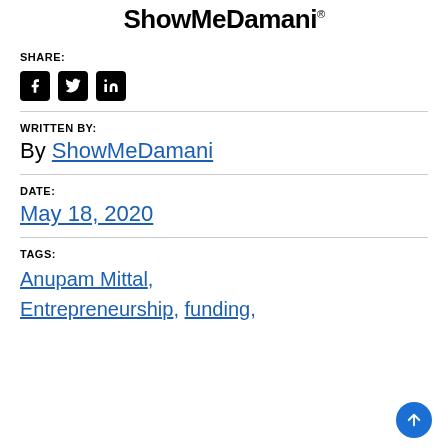ShowMeDamani®
SHARE:
[Figure (other): Social share icons: Facebook, Twitter, LinkedIn]
WRITTEN BY:
By ShowMeDamani
DATE:
May 18, 2020
TAGS:
Anupam Mittal, Entrepreneurship, funding,